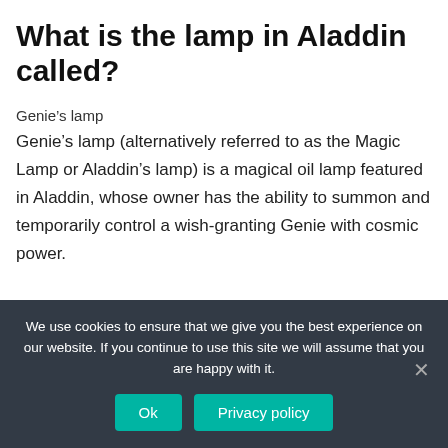What is the lamp in Aladdin called?
Genie’s lamp
Genie’s lamp (alternatively referred to as the Magic Lamp or Aladdin’s lamp) is a magical oil lamp featured in Aladdin, whose owner has the ability to summon and temporarily control a wish-granting Genie with cosmic power.
We use cookies to ensure that we give you the best experience on our website. If you continue to use this site we will assume that you are happy with it.